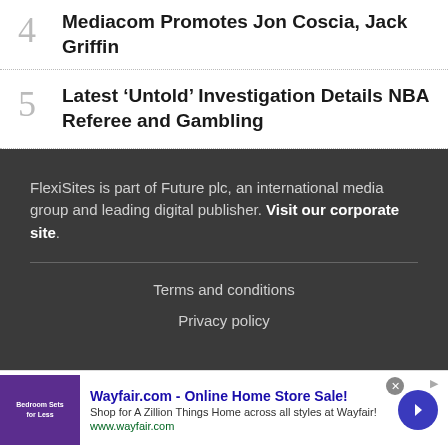4 Mediacom Promotes Jon Coscia, Jack Griffin
5 Latest ‘Untold’ Investigation Details NBA Referee and Gambling
FlexiSites is part of Future plc, an international media group and leading digital publisher. Visit our corporate site.
Terms and conditions
Privacy policy
[Figure (screenshot): Wayfair.com advertisement banner: 'Wayfair.com - Online Home Store Sale! Shop for A Zillion Things Home across all styles at Wayfair! www.wayfair.com' with purple bedroom image and blue arrow button]